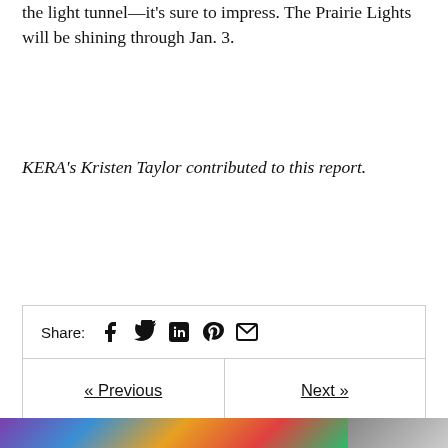the light tunnel—it's sure to impress. The Prairie Lights will be shining through Jan. 3.
KERA's Kristen Taylor contributed to this report.
Share: [Facebook] [Twitter] [LinkedIn] [Pinterest] [Email]
« Previous
Art&Seek Picks: Tuesday, December 29
Next »
2015's Top 10 Albums With Texas Ties
[Figure (photo): Partial colorful photo strip at bottom of page]